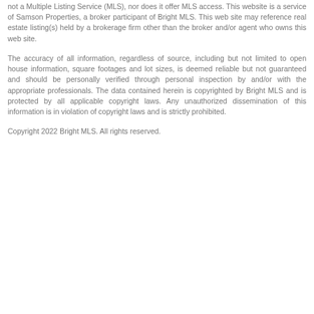not a Multiple Listing Service (MLS), nor does it offer MLS access. This website is a service of Samson Properties, a broker participant of Bright MLS. This web site may reference real estate listing(s) held by a brokerage firm other than the broker and/or agent who owns this web site.
The accuracy of all information, regardless of source, including but not limited to open house information, square footages and lot sizes, is deemed reliable but not guaranteed and should be personally verified through personal inspection by and/or with the appropriate professionals. The data contained herein is copyrighted by Bright MLS and is protected by all applicable copyright laws. Any unauthorized dissemination of this information is in violation of copyright laws and is strictly prohibited.
Copyright 2022 Bright MLS. All rights reserved.